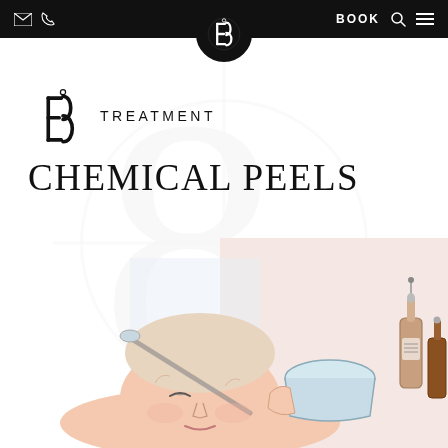✉ ✆  [logo]  BOOK 🔍 ☰
[Figure (logo): BB brand logo circle centered in nav bar — ornate interlocked BB symbol in white on black circle]
[Figure (logo): Large light gray watermark of the BB brand logo filling the page background]
[Figure (logo): Small BB brand logo mark (black) next to TREATMENT text]
TREATMENT
CHEMICAL PEELS
[Figure (illustration): Illustrated image showing a person receiving a chemical peel facial treatment, with a bowl and dropper bottles of product visible, rendered in a stylized line-art illustration style with pastel pink and blue tones]